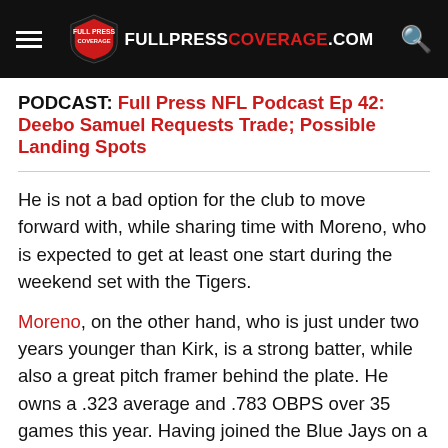FULLPRESSCOVERAGE.COM
PODCAST: Full Press NFL Podcast Ep 42: Deebo Samuel Requests Trade; Possible Landing Spots
He is not a bad option for the club to move forward with, while sharing time with Moreno, who is expected to get at least one start during the weekend set with the Tigers.
Moreno, on the other hand, who is just under two years younger than Kirk, is a strong batter, while also a great pitch framer behind the plate. He owns a .323 average and .783 OBPS over 35 games this year. Having joined the Blue Jays on a $25K contract back in 2016, Moreno has shown tremendous growth, to the point of being the team's top prospect, and coming in as the No. 4 prospect in all of